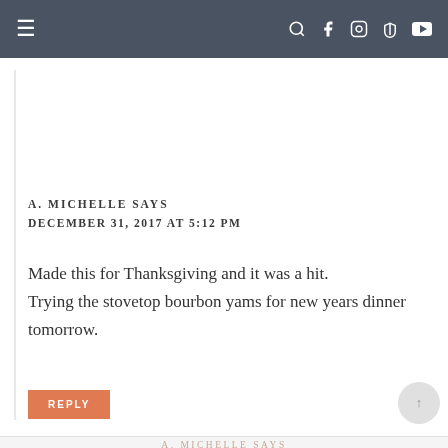≡   🔍 f 📷 𝗽 ▶
A. MICHELLE SAYS
DECEMBER 31, 2017 AT 5:12 PM
Made this for Thanksgiving and it was a hit.
Trying the stovetop bourbon yams for new years dinner tomorrow.
REPLY
A. MICHELLE SAYS